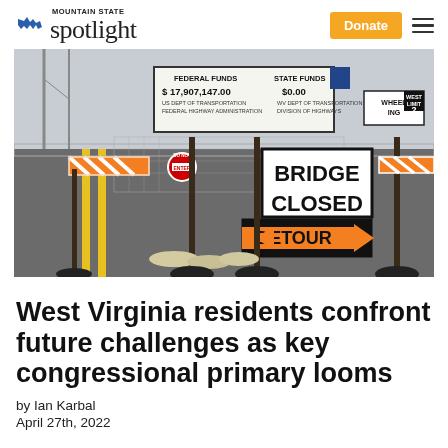Mountain State Spotlight — Donate
[Figure (photo): A road closed with orange and white barricades showing a 'Bridge Closed' sign and a 'Detour' arrow sign pointing left. In the background a sign reads 'Federal Funds $17,907,147.00  State Funds $0.00'. The scene is in Wheeling, WV.]
West Virginia residents confront future challenges as key congressional primary looms
by Ian Karbal
April 27th, 2022